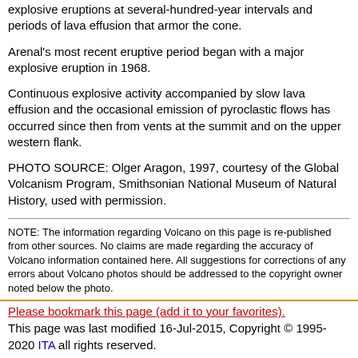explosive eruptions at several-hundred-year intervals and periods of lava effusion that armor the cone.
Arenal's most recent eruptive period began with a major explosive eruption in 1968.
Continuous explosive activity accompanied by slow lava effusion and the occasional emission of pyroclastic flows has occurred since then from vents at the summit and on the upper western flank.
PHOTO SOURCE: Olger Aragon, 1997, courtesy of the Global Volcanism Program, Smithsonian National Museum of Natural History, used with permission.
NOTE: The information regarding Volcano on this page is re-published from other sources. No claims are made regarding the accuracy of Volcano information contained here. All suggestions for corrections of any errors about Volcano photos should be addressed to the copyright owner noted below the photo.
Please bookmark this page (add it to your favorites). This page was last modified 16-Jul-2015, Copyright © 1995-2020 ITA all rights reserved.